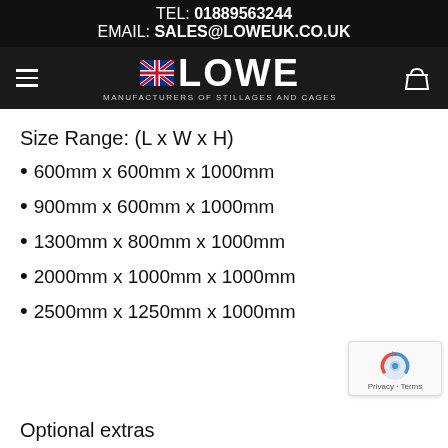TEL: 01889563244
EMAIL: SALES@LOWEUK.CO.UK
[Figure (logo): Lowe UK logo with Union Jack flag icon and text 'LOWE MANUFACTURERS OF STILLAGES AND CAGES' on dark background with hamburger menu and basket icons]
Size Range: (L x W x H)
600mm x 600mm x 1000mm
900mm x 600mm x 1000mm
1300mm x 800mm x 1000mm
2000mm x 1000mm x 1000mm
2500mm x 1250mm x 1000mm
Optional extras